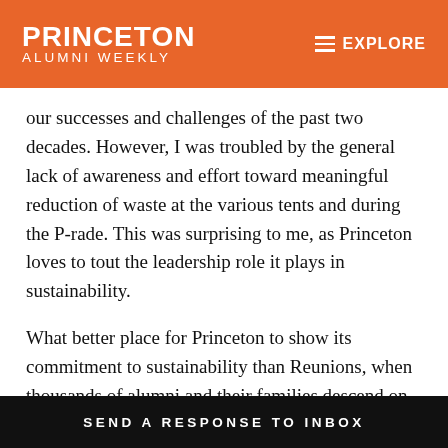PRINCETON ALUMNI WEEKLY  EXPLORE
our successes and challenges of the past two decades. However, I was troubled by the general lack of awareness and effort toward meaningful reduction of waste at the various tents and during the P-rade. This was surprising to me, as Princeton loves to tout the leadership role it plays in sustainability.
What better place for Princeton to show its commitment to sustainability than Reunions, when thousands of alumni and their families descend on campus? Everywhere I looked, plastic cups were used liberally and discarded
SEND A RESPONSE TO INBOX